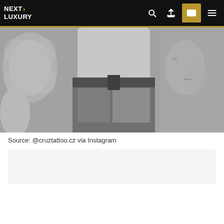NEXT LUXURY
[Figure (photo): Black and white photo of a person's torso in jeans sitting in an upholstered chair, with a tattoo visible on the right arm]
Source: @cruztattoo.cz via Instagram
[Advertisement block]
Contents